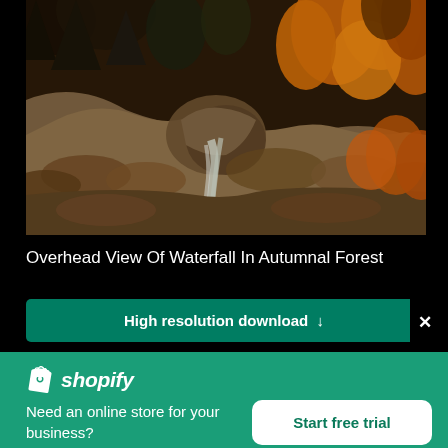[Figure (photo): Aerial/overhead view of a waterfall in an autumnal forest with orange and brown foliage and a rocky terrain]
Overhead View Of Waterfall In Autumnal Forest
High resolution download ↓
[Figure (logo): Shopify logo with bag icon and italic text]
Need an online store for your business?
Start free trial